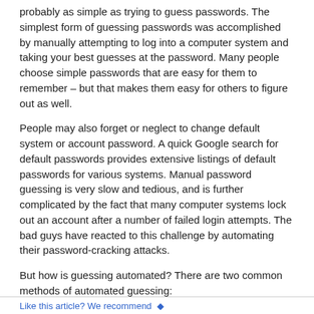probably as simple as trying to guess passwords. The simplest form of guessing passwords was accomplished by manually attempting to log into a computer system and taking your best guesses at the password. Many people choose simple passwords that are easy for them to remember – but that makes them easy for others to figure out as well.
People may also forget or neglect to change default system or account password. A quick Google search for default passwords provides extensive listings of default passwords for various systems. Manual password guessing is very slow and tedious, and is further complicated by the fact that many computer systems lock out an account after a number of failed login attempts. The bad guys have reacted to this challenge by automating their password-cracking attacks.
But how is guessing automated? There are two common methods of automated guessing:
Dictionary
Brute-force
Like this article? We recommend ♦